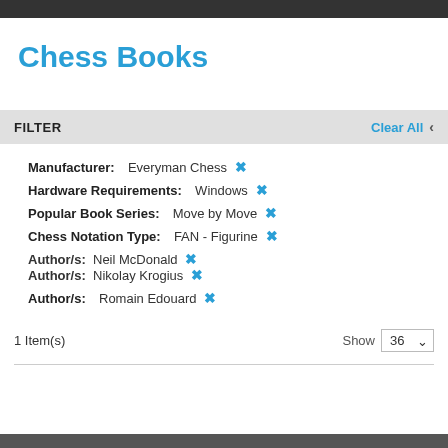Chess Books
FILTER
Manufacturer: Everyman Chess ×
Hardware Requirements: Windows ×
Popular Book Series: Move by Move ×
Chess Notation Type: FAN - Figurine ×
Author/s: Neil McDonald × Author/s: Nikolay Krogius ×
Author/s: Romain Edouard ×
1 Item(s)
Show 36